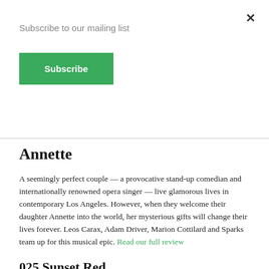Subscribe to our mailing list
Subscribe
Annette
A seemingly perfect couple — a provocative stand-up comedian and internationally renowned opera singer — live glamorous lives in contemporary Los Angeles. However, when they welcome their daughter Annette into the world, her mysterious gifts will change their lives forever. Leos Carax, Adam Driver, Marion Cottilard and Sparks team up for this musical epic. Read our full review
025 Sunset Red
025 Sunset Red is a kind of quasi-